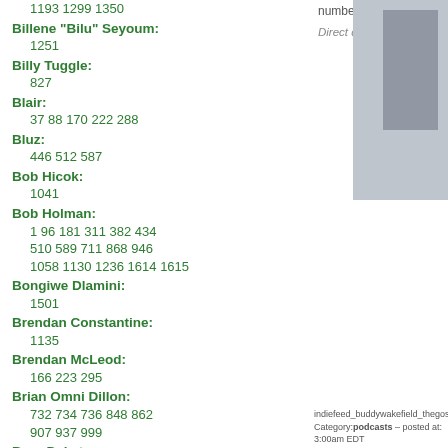1193 1299 1350
Billene "Bilu" Seyoum: 1251
Billy Tuggle: 827
Blair: 37 88 170 222 288
Bluz: 446 512 587
Bob Hicok: 1041
Bob Holman: 1 96 181 311 382 434 510 589 711 868 946 1058 1130 1236 1614 1615
Bongiwe Dlamini: 1501
Brendan Constantine: 1135
Brendan McLeod: 166 223 295
Brian Omni Dillon: 732 734 736 848 862 907 937 999
Bran Dykstra: 791
Brian S. Ellis: 506 822 1267
Buddy Wakefield:
number 1606.
Direct download:
indiefeed_buddywakefield_thegospeloflightning.m Category:podcasts – posted at: 3:00am EDT